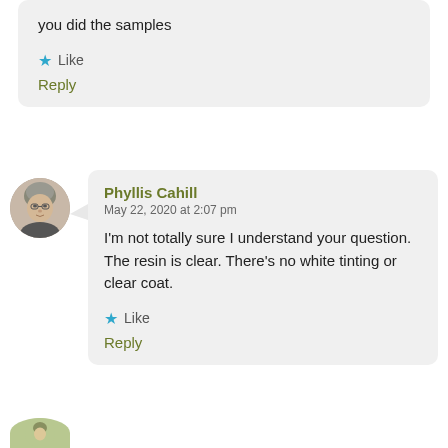you did the samples
Like
Reply
Phyllis Cahill
May 22, 2020 at 2:07 pm
I'm not totally sure I understand your question. The resin is clear. There's no white tinting or clear coat.
Like
Reply